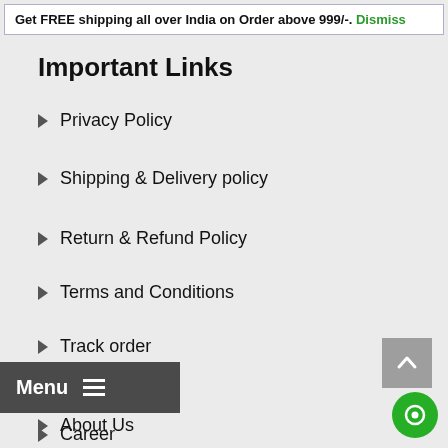Get FREE shipping all over India on Order above 999/-. Dismiss
Important Links
Privacy Policy
Shipping & Delivery policy
Return & Refund Policy
Terms and Conditions
Track order
Home
About Us
Career